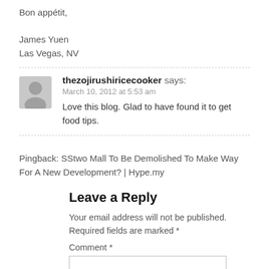Bon appétit,
James Yuen
Las Vegas, NV
thezojirushiricecooker says:
March 10, 2012 at 5:53 am
Love this blog. Glad to have found it to get food tips.
Pingback: SStwo Mall To Be Demolished To Make Way For A New Development? | Hype.my
Leave a Reply
Your email address will not be published. Required fields are marked *
Comment *